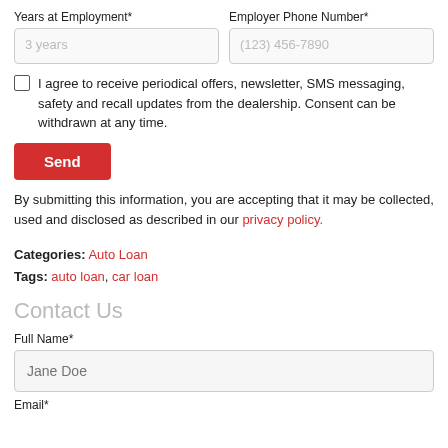Years at Employment*
Employer Phone Number*
3 years (placeholder)
(123) 456-7890 (placeholder)
I agree to receive periodical offers, newsletter, SMS messaging, safety and recall updates from the dealership. Consent can be withdrawn at any time.
Send
By submitting this information, you are accepting that it may be collected, used and disclosed as described in our privacy policy.
Categories: Auto Loan
Tags: auto loan, car loan
Contact Us
Full Name*
Jane Doe (placeholder)
Email*